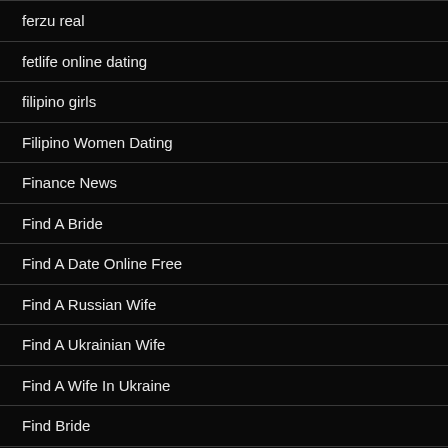ferzu real
fetlife online dating
filipino girls
Filipino Women Dating
Finance News
Find A Bride
Find A Date Online Free
Find A Russian Wife
Find A Ukrainian Wife
Find A Wife In Ukraine
Find Bride
Find Bride.Com